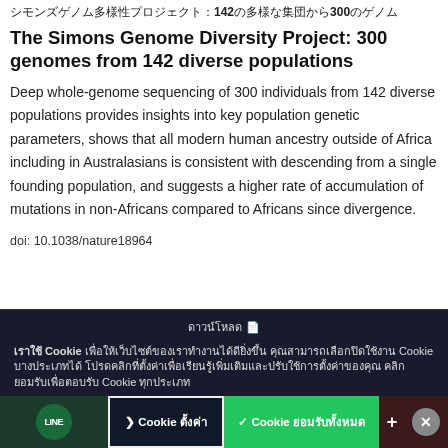シモンズゲノム多様性プロジェクト：142の多様な集団から300のゲノム
The Simons Genome Diversity Project: 300 genomes from 142 diverse populations
Deep whole-genome sequencing of 300 individuals from 142 diverse populations provides insights into key population genetic parameters, shows that all modern human ancestry outside of Africa including in Australasians is consistent with descending from a single founding population, and suggests a higher rate of accumulation of mutations in non-Africans compared to Africans since divergence.
doi: 10.1038/nature18964
[Figure (screenshot): Cookie consent banner overlay at the bottom of the page with Thai text, manage cookie button, accept cookie button, and close button]